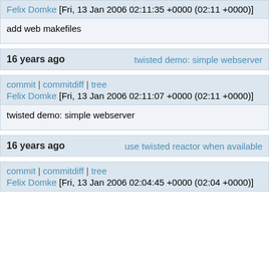Felix Domke [Fri, 13 Jan 2006 02:11:35 +0000 (02:11 +0000)]
add web makefiles
16 years ago   twisted demo: simple webserver
commit | commitdiff | tree
Felix Domke [Fri, 13 Jan 2006 02:11:07 +0000 (02:11 +0000)]
twisted demo: simple webserver
16 years ago   use twisted reactor when available
commit | commitdiff | tree
Felix Domke [Fri, 13 Jan 2006 02:04:45 +0000 (02:04 +0000)]